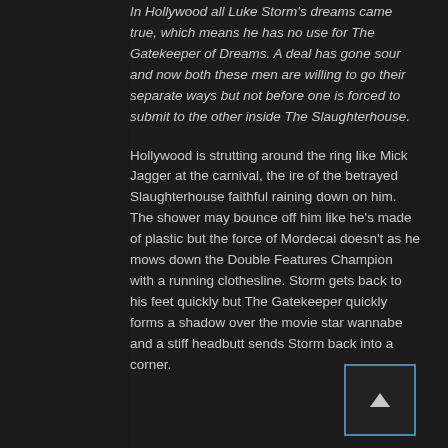In Hollywood all Luke Storm's dreams came true, which means he has no use for The Gatekeeper of Dreams. A deal has gone sour and now both these men are willing to go their separate ways but not before one is forced to submit to the other inside The Slaughterhouse.
Hollywood is strutting around the ring like Mick Jagger at the carnival, the ire of the betrayed Slaughterhouse faithful raining down on him. The shower may bounce off him like he's made of plastic but the force of Mordecai doesn't as he mows down the Double Features Champion with a running clothesline. Storm gets back to his feet quickly but The Gatekeeper quickly forms a shadow over the movie star wannabe and a stiff headbutt sends Storm back into a corner.